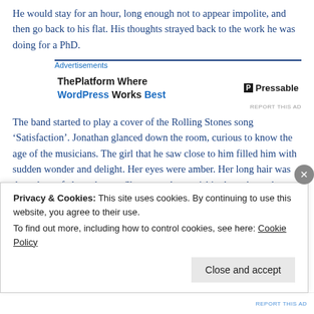He would stay for an hour, long enough not to appear impolite, and then go back to his flat. His thoughts strayed back to the work he was doing for a PhD.
[Figure (other): Advertisement banner for 'ThePlatform Where WordPress Works Best' with Pressable logo]
The band started to play a cover of the Rolling Stones song ‘Satisfaction’. Jonathan glanced down the room, curious to know the age of the musicians. The girl that he saw close to him filled him with sudden wonder and delight. Her eyes were amber. Her long hair was the colour of clover honey. She seemed, astonishingly, to be on her own. Jonathan was a shy man, but he immediately went over and introduced himself.
Privacy & Cookies: This site uses cookies. By continuing to use this website, you agree to their use.
To find out more, including how to control cookies, see here: Cookie Policy